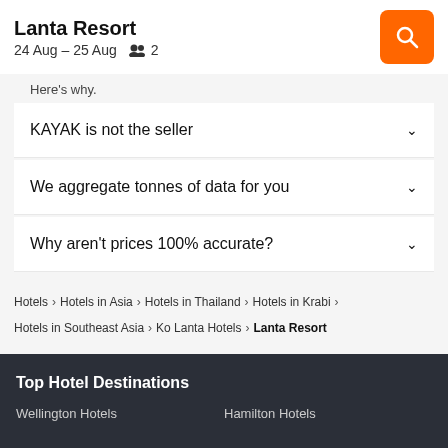Lanta Resort — 24 Aug – 25 Aug — 2 guests
Here's why.
KAYAK is not the seller
We aggregate tonnes of data for you
Why aren't prices 100% accurate?
Hotels > Hotels in Asia > Hotels in Thailand > Hotels in Krabi > Hotels in Southeast Asia > Ko Lanta Hotels > Lanta Resort
Top Hotel Destinations
Wellington Hotels
Hamilton Hotels